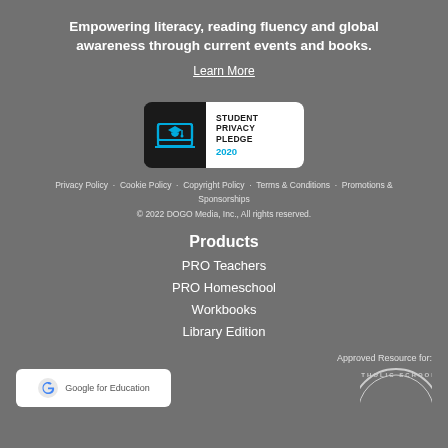Empowering literacy, reading fluency and global awareness through current events and books.
Learn More
[Figure (logo): Student Privacy Pledge 2020 badge with laptop icon on dark background]
Privacy Policy · Cookie Policy · Copyright Policy · Terms & Conditions · Promotions & Sponsorships
© 2022 DOGO Media, Inc., All rights reserved.
Products
PRO Teachers
PRO Homeschool
Workbooks
Library Edition
Approved Resource for:
[Figure (logo): Google for Education badge (white rounded rectangle with Google logo)]
[Figure (logo): Catholic Schools approved resource seal (circular seal partially visible)]